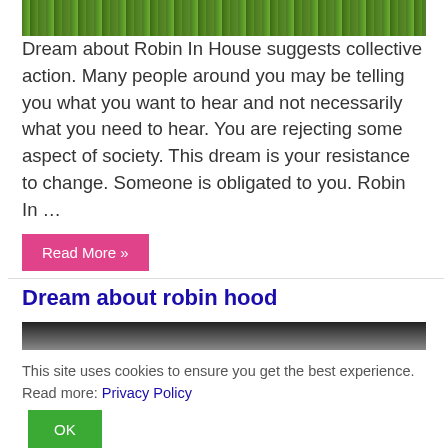[Figure (photo): Green grass background image, top portion of article about Robin In House dream]
Dream about Robin In House suggests collective action. Many people around you may be telling you what you want to hear and not necessarily what you need to hear. You are rejecting some aspect of society. This dream is your resistance to change. Someone is obligated to you. Robin In …
Read More »
Dream about robin hood
[Figure (photo): Dark grayscale image, top portion of article about Dream about robin hood]
This site uses cookies to ensure you get the best experience. Read more: Privacy Policy
OK